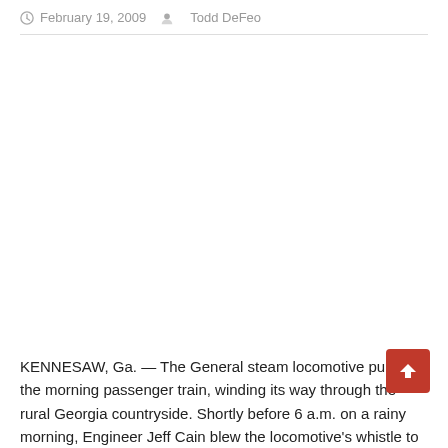February 19, 2009   Todd DeFeo
KENNESAW, Ga. — The General steam locomotive pulled the morning passenger train, winding its way through the rural Georgia countryside. Shortly before 6 a.m. on a rainy morning, Engineer Jeff Cain blew the locomotive's whistle to signal that Big